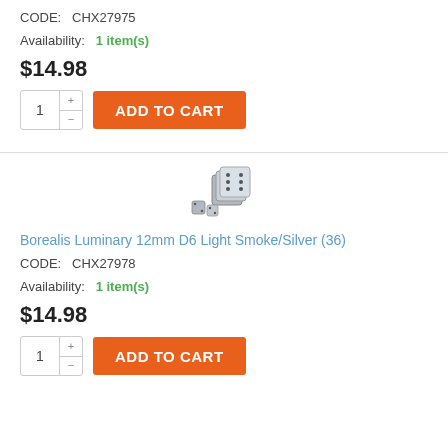CODE:  CHX27975
Availability:  1 item(s)
$14.98
[Figure (screenshot): Quantity selector with +/- buttons showing 1, and orange ADD TO CART button]
[Figure (photo): Photo of Borealis Luminary 12mm D6 Light Smoke/Silver dice set (36)]
Borealis Luminary 12mm D6 Light Smoke/Silver (36)
CODE:  CHX27978
Availability:  1 item(s)
$14.98
[Figure (screenshot): Quantity selector with +/- buttons showing 1, and orange ADD TO CART button]